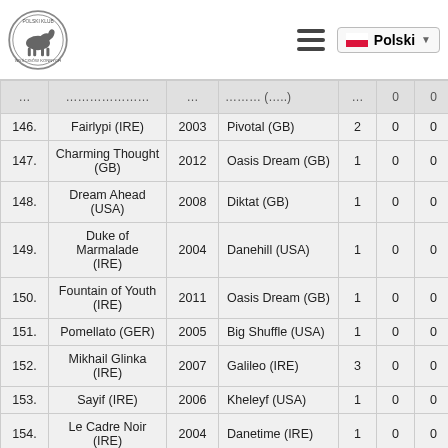Polski Klub — navigation header
| № | Name | Year | Sire | col5 | col6 | col7 |
| --- | --- | --- | --- | --- | --- | --- |
| 146. | Fairlypi (IRE) | 2003 | Pivotal (GB) | 2 | 0 | 0 |
| 147. | Charming Thought (GB) | 2012 | Oasis Dream (GB) | 1 | 0 | 0 |
| 148. | Dream Ahead (USA) | 2008 | Diktat (GB) | 1 | 0 | 0 |
| 149. | Duke of Marmalade (IRE) | 2004 | Danehill (USA) | 1 | 0 | 0 |
| 150. | Fountain of Youth (IRE) | 2011 | Oasis Dream (GB) | 1 | 0 | 0 |
| 151. | Pomellato (GER) | 2005 | Big Shuffle (USA) | 1 | 0 | 0 |
| 152. | Mikhail Glinka (IRE) | 2007 | Galileo (IRE) | 3 | 0 | 0 |
| 153. | Sayif (IRE) | 2006 | Kheleyf (USA) | 1 | 0 | 0 |
| 154. | Le Cadre Noir (IRE) | 2004 | Danetime (IRE) | 1 | 0 | 0 |
| 155. | Fastnet Rock (AUS) | 2001 | Danehill (USA) | 1 | 0 | 0 |